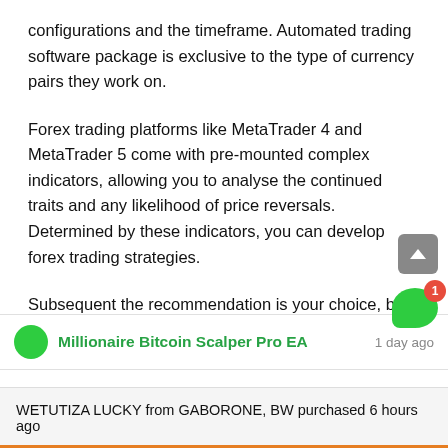configurations and the timeframe. Automated trading software package is exclusive to the type of currency pairs they work on.
Forex trading platforms like MetaTrader 4 and MetaTrader 5 come with pre-mounted complex indicators, allowing you to analyse the continued traits and any likelihood of price reversals. Determined by these indicators, you can develop forex trading strategies.
Subsequent the recommendation is your choice, but it
Millionaire Bitcoin Scalper Pro EA    1 day ago
WETUTIZA LUCKY from GABORONE, BW purchased 6 hours ago